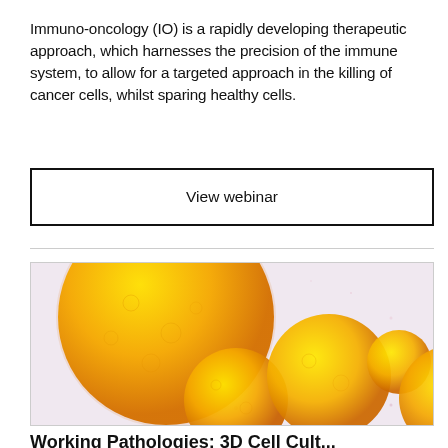Immuno-oncology (IO) is a rapidly developing therapeutic approach, which harnesses the precision of the immune system, to allow for a targeted approach in the killing of cancer cells, whilst sparing healthy cells.
View webinar
[Figure (photo): Microscopy image showing several round golden-yellow cell spheroids (3D cell cultures) of varying sizes on a light pink/lavender background. A large sphere is visible in the upper left, with medium and smaller spheres on the right side.]
Working Pathologies: 3D Cell Cult...